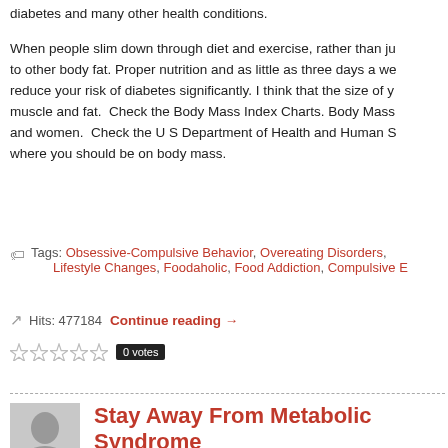diabetes and many other health conditions.

When people slim down through diet and exercise, rather than ju... to other body fat. Proper nutrition and as little as three days a we... reduce your risk of diabetes significantly. I think that the size of y... muscle and fat.  Check the Body Mass Index Charts. Body Mass... and women.  Check the U S Department of Health and Human S... where you should be on body mass.
Tags: Obsessive-Compulsive Behavior, Overeating Disorders, Lifestyle Changes, Foodaholic, Food Addiction, Compulsive E...
Hits: 477184   Continue reading →
0 votes
Stay Away From Metabolic Syndrome